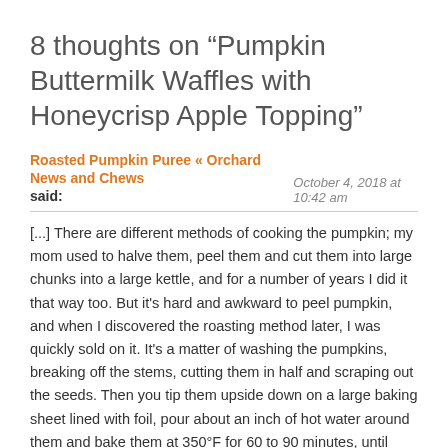8 thoughts on “Pumpkin Buttermilk Waffles with Honeycrisp Apple Topping”
Roasted Pumpkin Puree « Orchard News and Chews said:
October 4, 2018 at 10:42 am
[...] There are different methods of cooking the pumpkin; my mom used to halve them, peel them and cut them into large chunks into a large kettle, and for a number of years I did it that way too. But it’s hard and awkward to peel pumpkin, and when I discovered the roasting method later, I was quickly sold on it. It’s a matter of washing the pumpkins, breaking off the stems, cutting them in half and scraping out the seeds. Then you tip them upside down on a large baking sheet lined with foil, pour about an inch of hot water around them and bake them at 350°F for 60 to 90 minutes, until they’re soft when you poke them. I let them rest about 10 minutes, then turn them over and scoop out the pulp. Put the pulp into a blender or a large pot if you’re using an immersion blender. Blend it until there are no lumps